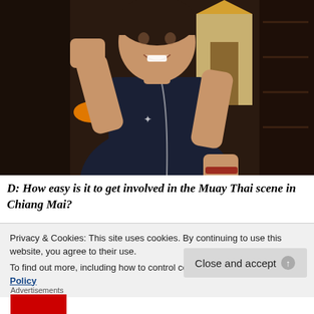[Figure (photo): Woman in a dark navy sleeveless top posing in a Muay Thai boxing stance with both fists raised, smiling, in front of a Thai temple backdrop with orange garlands]
D: How easy is it to get involved in the Muay Thai scene in Chiang Mai?
Privacy & Cookies: This site uses cookies. By continuing to use this website, you agree to their use.
To find out more, including how to control cookies, see here: Cookie Policy
Close and accept
Advertisements